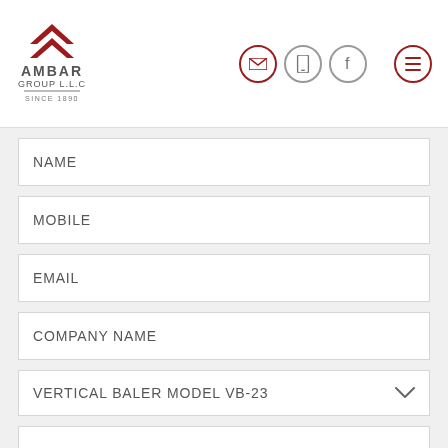AMBAR GROUP L.L.C SINCE 1890
NAME
MOBILE
EMAIL
COMPANY NAME
VERTICAL BALER MODEL VB-23